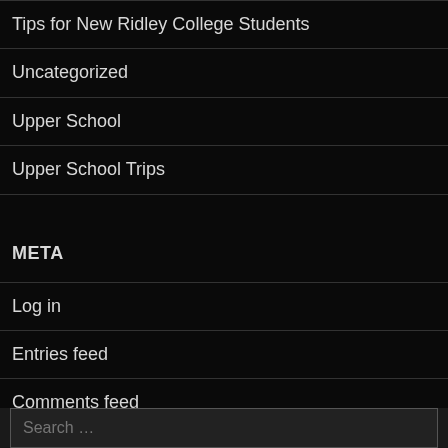Tips for New Ridley College Students
Uncategorized
Upper School
Upper School Trips
META
Log in
Entries feed
Comments feed
WordPress.org
Search …